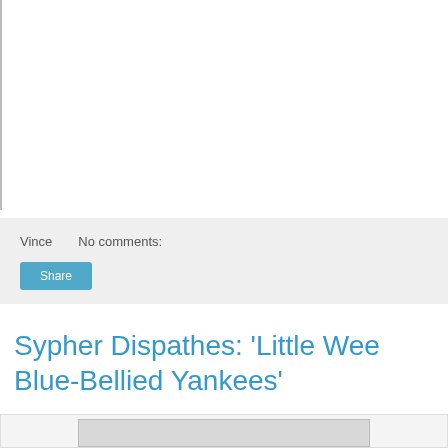[Figure (other): White blank area with left border line — top section of a blog page, likely an advertisement or image placeholder]
Vince   No comments:
Share
Sypher Dispathes: 'Little Wee Blue-Bellied Yankees'
[Figure (photo): Partial view of a historical or vintage photograph at the bottom of the page]